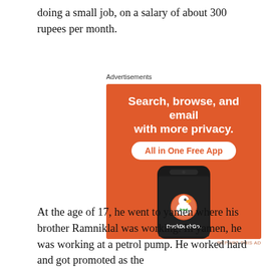doing a small job, on a salary of about 300 rupees per month.
Advertisements
[Figure (screenshot): DuckDuckGo advertisement showing a smartphone with the DuckDuckGo app. Text reads: 'Search, browse, and email with more privacy. All in One Free App'. DuckDuckGo logo and name displayed.]
REPORT THIS AD
At the age of 17, he went to yamen where his brother Ramniklal was working. In yamen, he was working at a petrol pump. He worked hard and got promoted as the